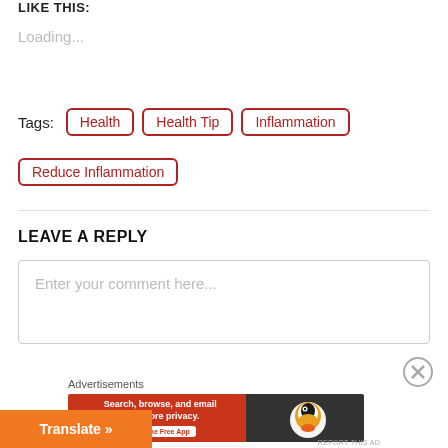LIKE THIS:
Loading...
Tags: Health   Health Tip   Inflammation   Reduce Inflammation
LEAVE A REPLY
Enter your comment here...
Advertisements
[Figure (screenshot): DuckDuckGo advertisement banner: Search, browse, and email with more privacy. Get One Free App]
Translate »